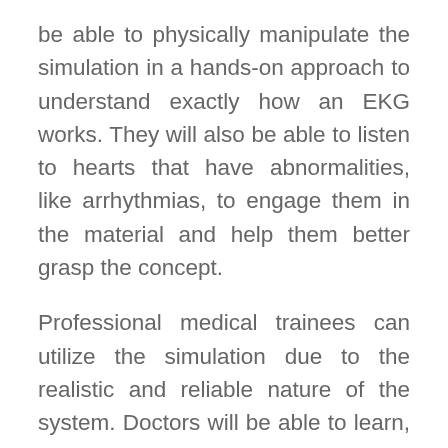be able to physically manipulate the simulation in a hands-on approach to understand exactly how an EKG works. They will also be able to listen to hearts that have abnormalities, like arrhythmias, to engage them in the material and help them better grasp the concept.
Professional medical trainees can utilize the simulation due to the realistic and reliable nature of the system. Doctors will be able to learn, experiment, and evaluate their work on the model. The team created an EKG unit that efficiently filters out electrical potential changes in